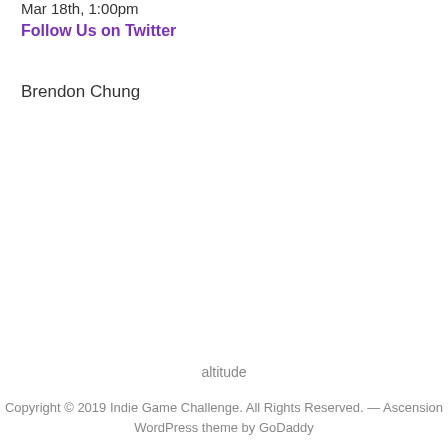Mar 18th, 1:00pm
Follow Us on Twitter
Brendon Chung
altitude
Copyright © 2019 Indie Game Challenge. All Rights Reserved. — Ascension WordPress theme by GoDaddy